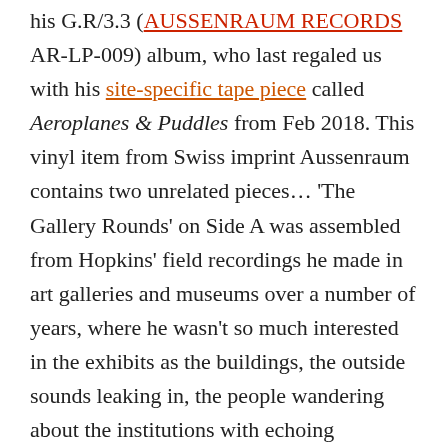his G.R/3.3 (AUSSENRAUM RECORDS AR-LP-009) album, who last regaled us with his site-specific tape piece called Aeroplanes & Puddles from Feb 2018. This vinyl item from Swiss imprint Aussenraum contains two unrelated pieces... 'The Gallery Rounds' on Side A was assembled from Hopkins' field recordings he made in art galleries and museums over a number of years, where he wasn't so much interested in the exhibits as the buildings, the outside sounds leaking in, the people wandering about the institutions with echoing footsteps, and their occasional murmurings of engagement as they encounter a piece of Etruscan pottery in a vitrine. It's vaguely interesting to the extent that he managed to layer the sounds to compress multiple events into a single plane, and then applied filters and effects to perform certain transformations on these everyday